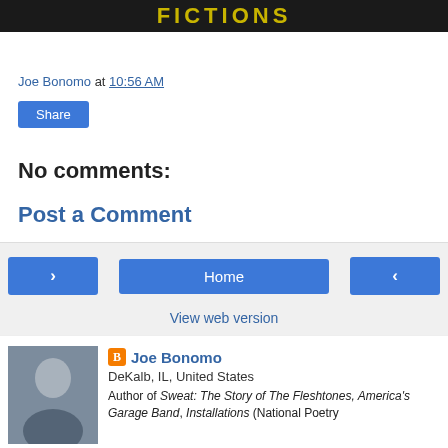[Figure (photo): Banner image with dark background and yellow text reading FICTIONS]
Joe Bonomo at 10:56 AM
Share
No comments:
Post a Comment
< Home >
View web version
[Figure (photo): Author photo of Joe Bonomo]
Joe Bonomo
DeKalb, IL, United States
Author of Sweat: The Story of The Fleshtones, America's Garage Band, Installations (National Poetry